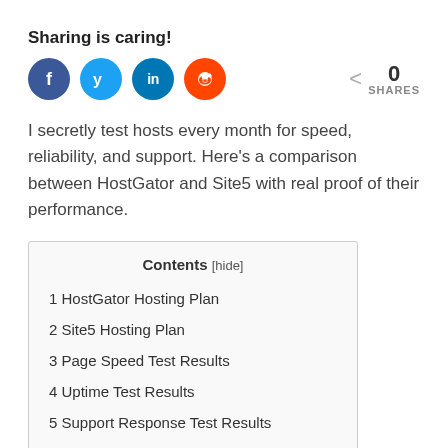Sharing is caring!
[Figure (infographic): Four social media share buttons (Facebook, Twitter, LinkedIn, Reddit) and a share count showing 0 SHARES]
I secretly test hosts every month for speed, reliability, and support. Here's a comparison between HostGator and Site5 with real proof of their performance.
1 HostGator Hosting Plan
2 Site5 Hosting Plan
3 Page Speed Test Results
4 Uptime Test Results
5 Support Response Test Results